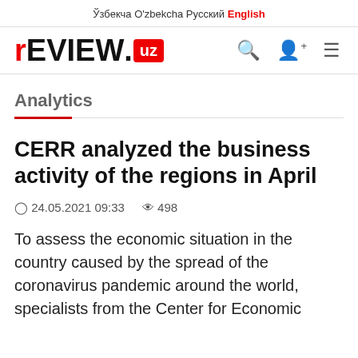Ўзбекча  O'zbekcha  Русский  English
[Figure (logo): REVIEW.uz logo with red R and red UZ box, search/user/menu icons]
Analytics
CERR analyzed the business activity of the regions in April
24.05.2021 09:33    498
To assess the economic situation in the country caused by the spread of the coronavirus pandemic around the world, specialists from the Center for Economic